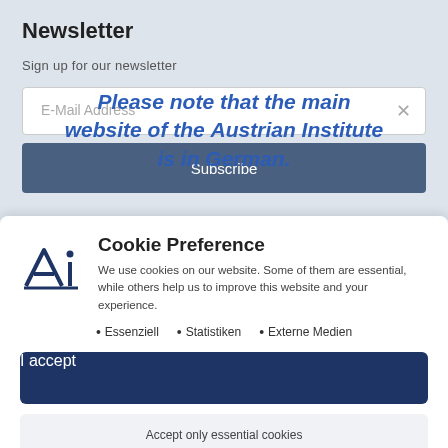Newsletter
Sign up for our newsletter
[Figure (screenshot): Email input field with placeholder 'E-Mail Address' and an X close button]
Please note that the main website of the Austrian Institute is in German.
[Figure (screenshot): Subscribe button (dark blue/grey)]
Cookie Preference
We use cookies on our website. Some of them are essential, while others help us to improve this website and your experience.
Essenziell
Statistiken
Externe Medien
I accept
Accept only essential cookies
Individual Privacy Preferences
Cookie Details | Privacy Policy | Imprint